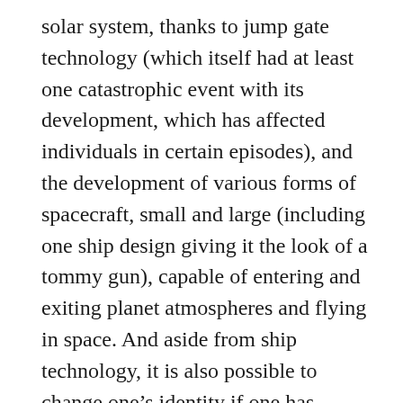solar system, thanks to jump gate technology (which itself had at least one catastrophic event with its development, which has affected individuals in certain episodes), and the development of various forms of spacecraft, small and large (including one ship design giving it the look of a tommy gun), capable of entering and exiting planet atmospheres and flying in space. And aside from ship technology, it is also possible to change one’s identity if one has enough cash (woolongs). Some episodes show a man going from skinny to fat, from a white guy to a black guy, a man to a woman, etc. Primarily with the intention to evade authorities and bounty hunters (the latter of which exist because there isn’t enough of a